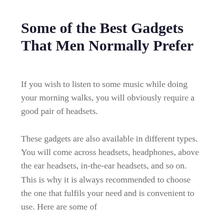Some of the Best Gadgets That Men Normally Prefer
If you wish to listen to some music while doing your morning walks, you will obviously require a good pair of headsets.
These gadgets are also available in different types. You will come across headsets, headphones, above the ear headsets, in-the-ear headsets, and so on. This is why it is always recommended to choose the one that fulfils your need and is convenient to use. Here are some of